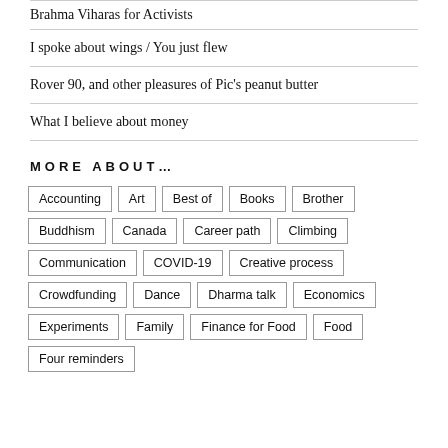Brahma Viharas for Activists
I spoke about wings / You just flew
Rover 90, and other pleasures of Pic's peanut butter
What I believe about money
MORE ABOUT…
Accounting
Art
Best of
Books
Brother
Buddhism
Canada
Career path
Climbing
Communication
COVID-19
Creative process
Crowdfunding
Dance
Dharma talk
Economics
Experiments
Family
Finance for Food
Food
Four reminders